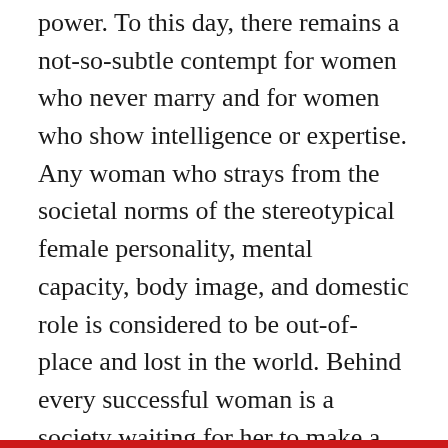power. To this day, there remains a not-so-subtle contempt for women who never marry and for women who show intelligence or expertise. Any woman who strays from the societal norms of the stereotypical female personality, mental capacity, body image, and domestic role is considered to be out-of-place and lost in the world. Behind every successful woman is a society waiting for her to make a mistake so she can be ‘dethroned’ with soul-shattering allegations.
One of the less-discussed elements of the play is the illicit nature of the relationship between John Proctor and Abigail Williams. Although a significant portion of The Crucible discusses